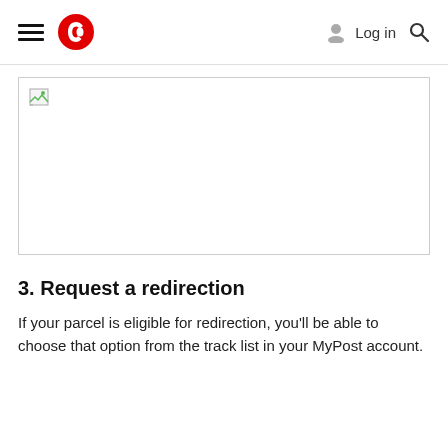Australia Post — Log in
[Figure (screenshot): Broken/unloaded image placeholder with a small broken image icon in the top-left corner, shown inside a light grey border box.]
3. Request a redirection
If your parcel is eligible for redirection, you'll be able to choose that option from the track list in your MyPost account.